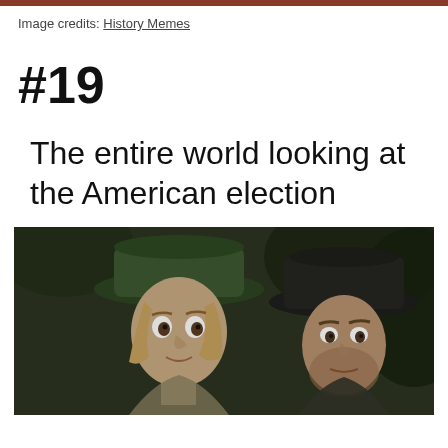Image credits: History Memes
#19
The entire world looking at the American election
[Figure (photo): Two people in pirate-style costumes with wide-brimmed hats looking shocked/concerned, appearing to be from a movie scene (Pirates of the Caribbean style).]